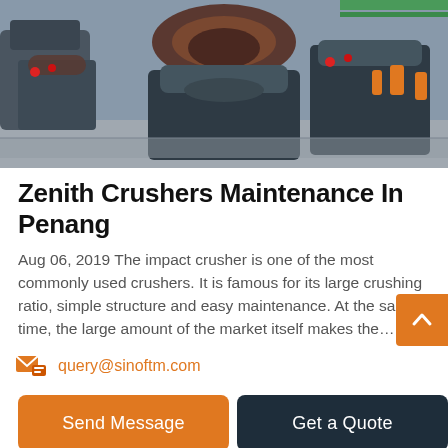[Figure (photo): Photo of multiple large industrial cone crushers in a factory setting, dark grey/black metal machines with orange and red accents, on a factory floor with green shelving in background.]
Zenith Crushers Maintenance In Penang
Aug 06, 2019 The impact crusher is one of the most commonly used crushers. It is famous for its large crushing ratio, simple structure and easy maintenance. At the same time, the large amount of the market itself makes the…
query@sinoftm.com
Send Message   Get a Quote
Best sale italian ice cream machine soft ice cream machine port: shanghai a features and advantages of italian ice